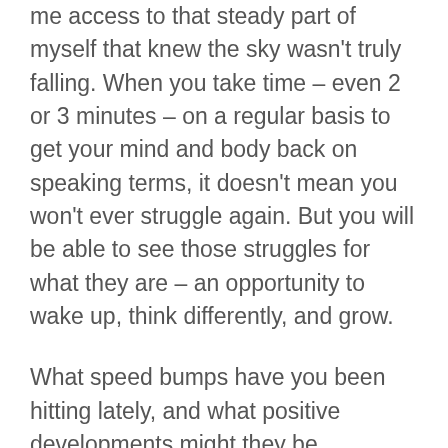me access to that steady part of myself that knew the sky wasn't truly falling. When you take time – even 2 or 3 minutes – on a regular basis to get your mind and body back on speaking terms, it doesn't mean you won't ever struggle again. But you will be able to see those struggles for what they are – an opportunity to wake up, think differently, and grow.
What speed bumps have you been hitting lately, and what positive developments might they be foreshadowing? I'd love to hear your thoughts, either in the comments on the web version of this newsletter, or on the